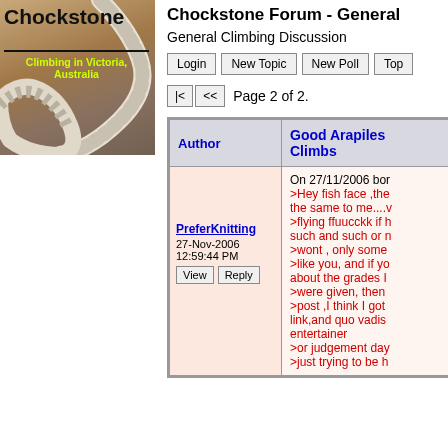[Figure (logo): Chockstone logo with rope image, text 'Chockstone' and 'Climbing in Victoria, Australia']
Chockstone Forum - General
General Climbing Discussion
Login | New Topic | New Poll | Top
Page 2 of 2.
| Author | Good Arapiles Climbs |
| --- | --- |
| PreferKnitting
27-Nov-2006
12:59:44 PM
View | Reply | On 27/11/2006 bor
>Hey fish face ,the the same to me....v
>flying ffuucckk if h such and such or n
>wont , only some
>like you, and if yo about the grades I
>were given, then
>post ,I think I got link,and quo vadis entertainer
>or judgement day
>just trying to be h |